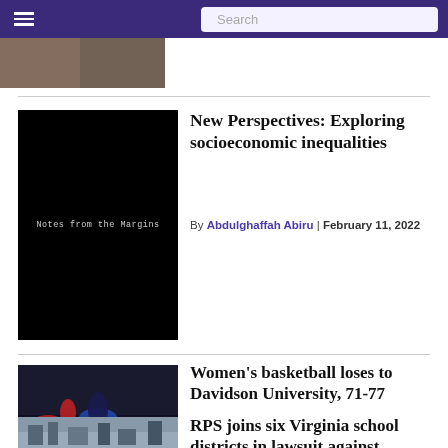☰  Search
[Figure (photo): Partial top image strip, cropped photo]
[Figure (photo): Black background image with text 'Notes from the Margins']
New Perspectives: Exploring socioeconomic inequalities
By Abdulghaffah Abiru | February 11, 2022
[Figure (photo): Women's basketball game photo]
Women's basketball loses to Davidson University, 71-77
By Andrew Cardounel | February 10, 2022
[Figure (photo): Cityscape/skyline photo]
RPS joins six Virginia school districts in lawsuit against Youngkin's mask mandate ban